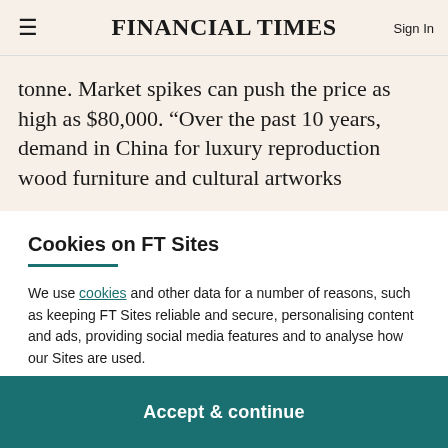FINANCIAL TIMES
tonne. Market spikes can push the price as high as $80,000. “Over the past 10 years, demand in China for luxury reproduction wood furniture and cultural artworks
Cookies on FT Sites
We use cookies and other data for a number of reasons, such as keeping FT Sites reliable and secure, personalising content and ads, providing social media features and to analyse how our Sites are used.
Manage cookies
Accept & continue